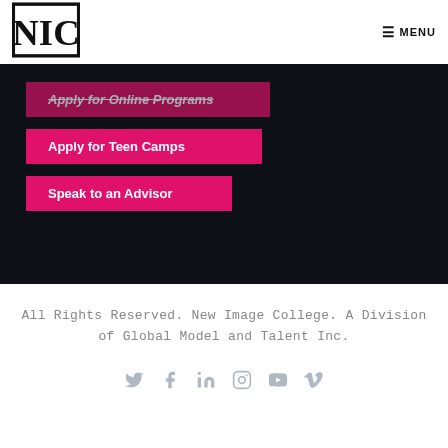[Figure (logo): NIC logo — New Image College initials in bold serif font inside a rectangular border]
≡ MENU
Apply for Online Programs
Apply for Teen Camps
Speak to an Advisor
All Rights Reserved. New Image College. A Division of Global Model and Talent Inc.
[Figure (other): Social media icons: Twitter, Facebook, LinkedIn, Instagram, YouTube, Vimeo — all in grey]